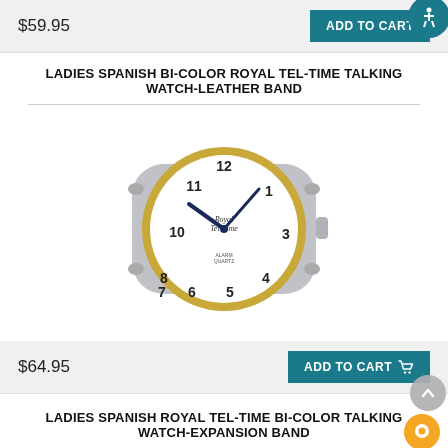$59.95
ADD TO CART
LADIES SPANISH BI-COLOR ROYAL TEL-TIME TALKING WATCH-LEATHER BAND
[Figure (photo): A ladies bi-color Royal Tel-Time talking watch face with silver case, gold bezel, white dial showing Arabic numerals and dark blue hands, with side buttons.]
$64.95
ADD TO CART
LADIES SPANISH ROYAL TEL-TIME BI-COLOR TALKING WATCH-EXPANSION BAND